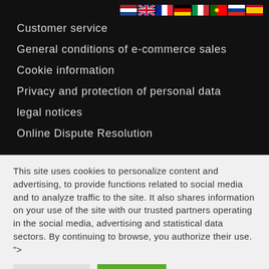[Figure (infographic): Row of 8 country flag icons: Netherlands, UK, France, Germany, Italy, Portugal, Russia, Spain]
Customer service
General conditions of e-commerce sales
Cookie information
Privacy and protection of personal data
legal notices
Online Dispute Resolution
This site uses cookies to personalize content and advertising, to provide functions related to social media and to analyze traffic to the site. It also shares information on your use of the site with our trusted partners operating in the social media, advertising and statistical data sectors. By continuing to browse, you authorize their use. ">
Inpositions | I accept